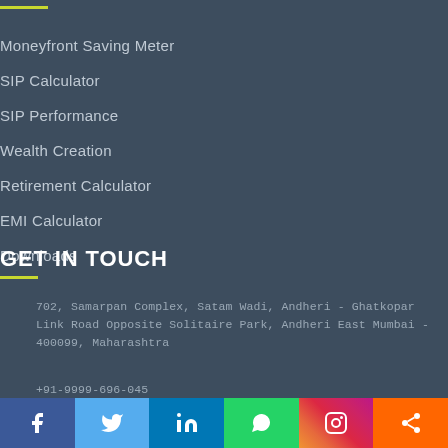Moneyfront Saving Meter
SIP Calculator
SIP Performance
Wealth Creation
Retirement Calculator
EMI Calculator
Downloads
GET IN TOUCH
702, Samarpan Complex, Satam Wadi, Andheri - Ghatkopar Link Road Opposite Solitaire Park, Andheri East Mumbai - 400099, Maharashtra
+91-9999-696-045
[Figure (infographic): Social media share bar with icons for Facebook, Twitter, LinkedIn, WhatsApp, Instagram, and Share]